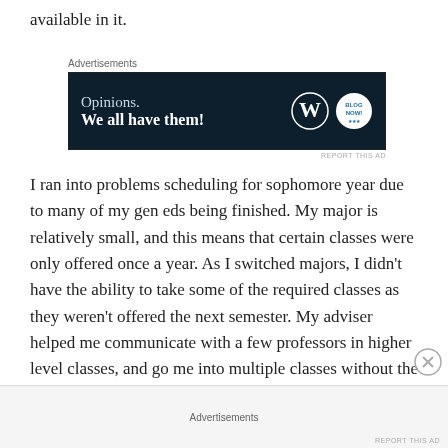available in it.
[Figure (other): Advertisement banner with dark navy background. Text reads: 'Opinions. We all have them!' with WordPress logo (W) and a second circular brand logo on the right.]
I ran into problems scheduling for sophomore year due to many of my gen eds being finished. My major is relatively small, and this means that certain classes were only offered once a year. As I switched majors, I didn't have the ability to take some of the required classes as they weren't offered the next semester. My adviser helped me communicate with a few professors in higher level classes, and go me into multiple classes without the pre-
Advertisements